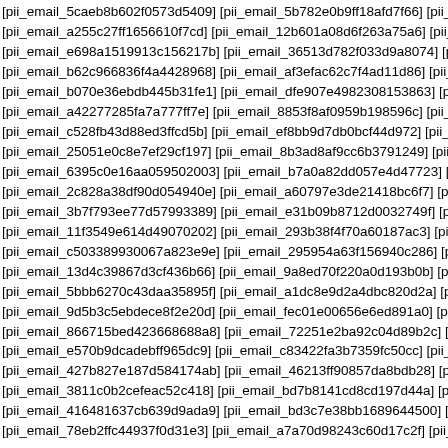[pii_email_5caeb8b602f0573d5409] [pii_email_5b782e0b9ff18afd7f66] [pii_email_fe4...
[pii_email_a255c27ff1656610f7cd] [pii_email_12b601a08d6f263a75a6] [pii_email_d1...
[pii_email_e698a1519913c156217b] [pii_email_36513d782f033d9a8074] [pii_email_...
[pii_email_b62c966836f4a4428968] [pii_email_af3efac62c7f4ad11d86] [pii_email_57...
[pii_email_b070e36ebdb445b31fe1] [pii_email_dfe907e4982308153863] [pii_email_...
[pii_email_a42277285fa7a777ff7e] [pii_email_8853f8af0959b198596c] [pii_email_85...
[pii_email_c528fb43d88ed3ffcd5b] [pii_email_ef8bb9d7db0bcf44d972] [pii_email_d3...
[pii_email_25051e0c8e7ef29cf197] [pii_email_8b3ad8af9cc6b3791249] [pii_email_7...
[pii_email_6395c0e16aa059502003] [pii_email_b7a0a82dd057e4d47723] [pii_email_...
[pii_email_2c828a38df90d054940e] [pii_email_a60797e3de21418bc6f7] [pii_email_e...
[pii_email_3b7f793ee77d57993389] [pii_email_e31b09b8712d0032749f] [pii_email_...
[pii_email_11f3549e614d49070202] [pii_email_293b38f4f70a60187ac3] [pii_email_5...
[pii_email_c503389930067a823e9e] [pii_email_295954a63f156940c286]  [pii_email_...
[pii_email_13d4c39867d3cf436b66] [pii_email_9a8ed70f220a0d193b0b] [pii_email_2...
[pii_email_5bbb6270c43daa35895f] [pii_email_a1dc8e9d2a4dbc820d2a] [pii_email_...
[pii_email_9d5b3c5ebdece8f2e20d] [pii_email_fec01e00656e6ed891a0] [pii_email_a...
[pii_email_866715bed4236688a8] [pii_email_72251e2ba92c04d89b2c] [pii_email_...
[pii_email_e570b9dcadebff965dc9] [pii_email_c83422fa3b7359fc50cc] [pii_email_9d...
[pii_email_427b827e187d584174ab] [pii_email_46213ff90857da8bdb28] [pii_email_...
[pii_email_3811c0b2cefeac52c418] [pii_email_bd7b8141cd8cd197d44a] [pii_email_a...
[pii_email_416481637cb639d9ada9] [pii_email_bd3c7e38bb1689644500] [pii_email_...
[pii_email_78eb2ffc44937f0d31e3] [pii_email_a7a70d98243c60d17c2f] [pii_email_93...